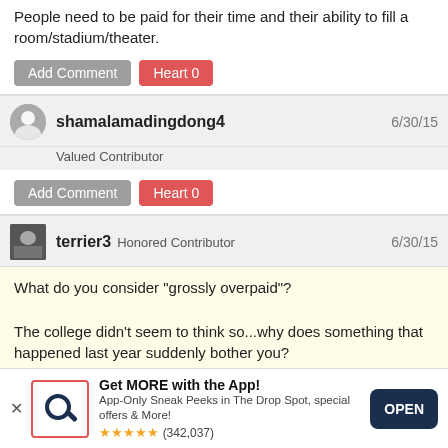People need to be paid for their time and their ability to fill a room/stadium/theater.
Add Comment  Heart 0
shamalamadingdong4  6/30/15
Valued Contributor
Add Comment  Heart 0
terrier3  Honored Contributor  6/30/15
What do you consider "grossly overpaid"?

The college didn't seem to think so...why does something that happened last year suddenly bother you?
[Figure (screenshot): Mobile app advertisement banner: Get MORE with the App! App-Only Sneak Peeks in The Drop Spot, special offers & More! 5 stars (342,037) with OPEN button]